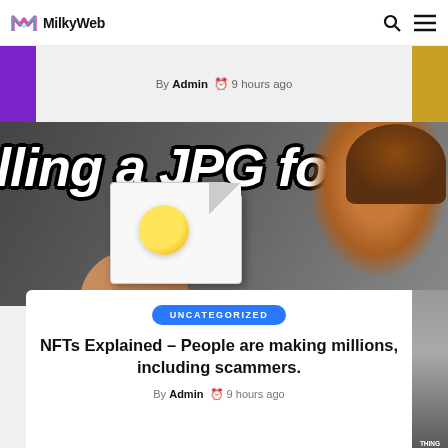MilkyWeb
By Admin  9 hours ago
[Figure (photo): Thumbnail image of a video titled 'lling a JPG for $5' showing a man with a surprised expression holding a file card with a yellow circle/egg yolk image on it, dark background with large bold italic white text.]
UNCATEGORIZED
NFTs Explained – People are making millions, including scammers.
By Admin  9 hours ago